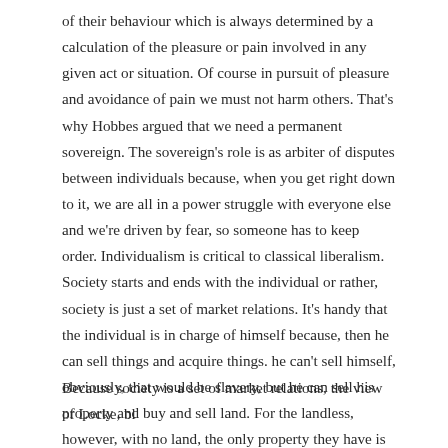of their behaviour which is always determined by a calculation of the pleasure or pain involved in any given act or situation. Of course in pursuit of pleasure and avoidance of pain we must not harm others. That's why Hobbes argued that we need a permanent sovereign. The sovereign's role is as arbiter of disputes between individuals because, when you get right down to it, we are all in a power struggle with everyone else and we're driven by fear, so someone has to keep order. Individualism is critical to classical liberalism. Society starts and ends with the individual or rather, society is just a set of market relations. It's handy that the individual is in charge of himself because, then he can sell things and acquire things. he can't sell himself, obviously, that would be slavery, but he can sell his property and buy and sell land. For the landless, however, with no land, the only property they have is their labour-power, their ability to work. So, men are free as individuals.
Because society is a set of market relations, the view of Locke, bl...